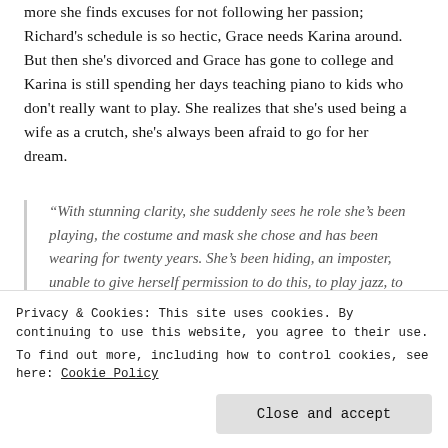more she finds excuses for not following her passion; Richard's schedule is so hectic, Grace needs Karina around. But then she's divorced and Grace has gone to college and Karina is still spending her days teaching piano to kids who don't really want to play. She realizes that she's used being a wife as a crutch, she's always been afraid to go for her dream.
“With stunning clarity, she suddenly sees he role she’s been playing, the costume and mask she chose and has been wearing for twenty years. She’s been hiding, an imposter, unable to give herself permission to do this, to play jazz, to be who she is, shackled inside a prison of blame and excuses.”
Privacy & Cookies: This site uses cookies. By continuing to use this website, you agree to their use.
To find out more, including how to control cookies, see here: Cookie Policy
Close and accept